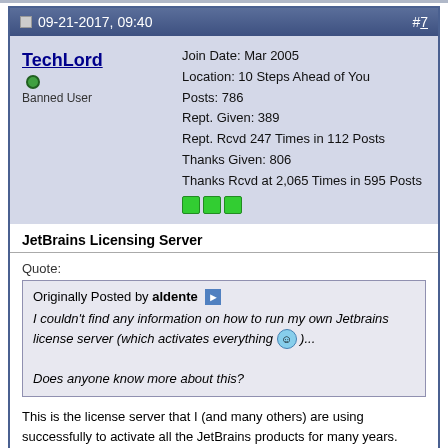09-21-2017, 09:40  #7
TechLord (online) Banned User
Join Date: Mar 2005
Location: 10 Steps Ahead of You
Posts: 786
Rept. Given: 389
Rept. Rcvd 247 Times in 112 Posts
Thanks Given: 806
Thanks Rcvd at 2,065 Times in 595 Posts
JetBrains Licensing Server
Quote:
Originally Posted by aldente
I couldn't find any information on how to run my own Jetbrains license server (which activates everything :) )...

Does anyone know more about this?
This is the license server that I (and many others) are using successfully to activate all the JetBrains products for many years.
Instructions are in the README.
TESTED working with the latest version of ReSharper and a